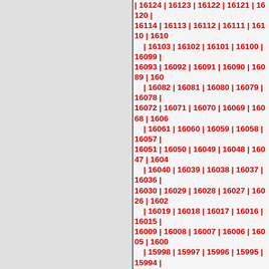| 16124 | 16123 | 16122 | 16121 | 16120 | 16114 | 16113 | 16112 | 16111 | 16110 | 1611... | 16103 | 16102 | 16101 | 16100 | 16099 | 16093 | 16092 | 16091 | 16090 | 16089 | 160... | 16082 | 16081 | 16080 | 16079 | 16078 | 16072 | 16071 | 16070 | 16069 | 16068 | 1606... | 16061 | 16060 | 16059 | 16058 | 16057 | 16051 | 16050 | 16049 | 16048 | 16047 | 1604... | 16040 | 16039 | 16038 | 16037 | 16036 | 16030 | 16029 | 16028 | 16027 | 16026 | 1602... | 16019 | 16018 | 16017 | 16016 | 16015 | 16009 | 16008 | 16007 | 16006 | 16005 | 1600... | 15998 | 15997 | 15996 | 15995 | 15994 | 15988 | 15987 | 15986 | 15985 | 15984 | 1598... | 15977 | 15976 | 15975 | 15974 | 15973 | 15967 | 15966 | 15965 | 15964 | 15963 | 1596... | 15956 | 15955 | 15954 | 15953 | 15952 | 15946 | 15945 | 15944 | 15943 | 15942 | 1594... | 15935 | 15934 | 15933 | 15932 | 15931 | 15925 | 15924 | 15923 | 15922 | 15921 | 1592... | 15914 | 15913 | 15912 | 15911 | 15910 | 15904 | 15903 | 15902 | 15901 | 15900 | 1589... | 15893 | 15892 | 15891 | 15890 | 15889 | 15883 | 15882 | 15881 | 15880 | 15879 | 1587... | 15872 | 15871 | 15870 | 15869 | 15868 | 15862 | 15861 | 15860 | 15859 | 15858 | 1585... | 15851 | 15850 | 15849 | 15848 | 15847 | 15841 | 15840 | 15839 | 15838 | 15837 | 1583... | 15830 | 15829 | 15828 | 15827 | 15826 | 15820 | 15819 | 15818 | 15817 | 15816 | 1581... | 15809 | 15808 | 15807 | 15806 | 15805 | 15799 | 15798 | 15797 | 15796 | 15795 | 1570...